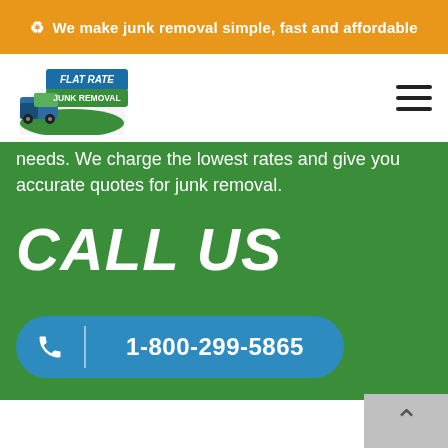We make junk removal simple, fast and affordable
[Figure (logo): Flat Rate Junk Removal logo with truck graphic, blue and green banner with white text]
needs. We charge the lowest rates and give you accurate quotes for junk removal.
CALL US
1-800-299-5865